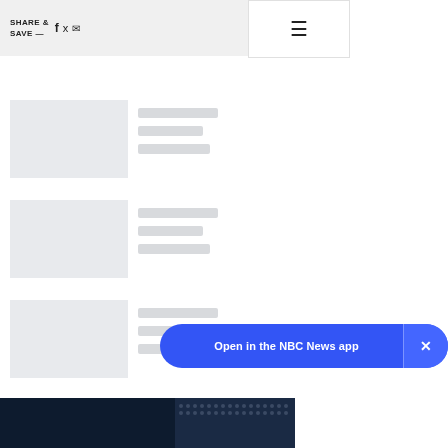SHARE & SAVE —
[Figure (screenshot): Loading skeleton card 1 with thumbnail placeholder and grey text lines]
[Figure (screenshot): Loading skeleton card 2 with thumbnail placeholder and grey text lines]
[Figure (screenshot): Loading skeleton card 3 with thumbnail placeholder and grey text lines]
Open in the NBC News app